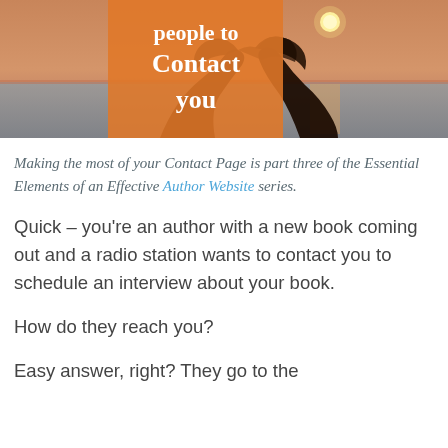[Figure (photo): Photo of two hands forming a heart shape against a sunset over water. On the left side is an orange rectangle overlay with white text reading 'people to Contact you'.]
Making the most of your Contact Page is part three of the Essential Elements of an Effective Author Website series.
Quick – you're an author with a new book coming out and a radio station wants to contact you to schedule an interview about your book.
How do they reach you?
Easy answer, right? They go to the